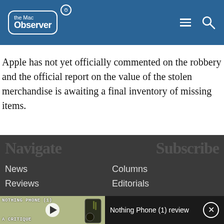The Mac Observer
Apple has not yet officially commented on the robbery and the official report on the value of the stolen merchandise is awaiting a final inventory of missing items.
News
Columns
Reviews
Editorials
[Figure (screenshot): Nothing Phone (1) review video thumbnail with play button, overlaid on a dark video bar showing the title 'Nothing Phone (1) review' with a close button]